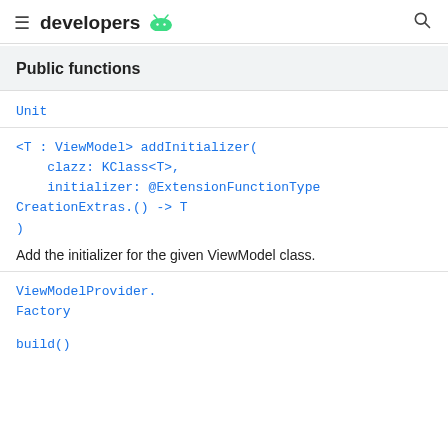developers
Public functions
Unit
<T : ViewModel> addInitializer(
    clazz: KClass<T>,
    initializer: @ExtensionFunctionType CreationExtras.() -> T
)
Add the initializer for the given ViewModel class.
ViewModelProvider.Factory
build()